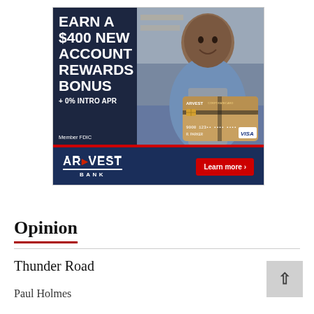[Figure (illustration): Arvest Bank advertisement banner. Top section has dark navy background with a smiling man wearing an apron (small business owner) on the right side. Large white bold text reads 'EARN A $400 NEW ACCOUNT REWARDS BONUS + 0% INTRO APR'. Bottom left says 'Member FDIC'. An Arvest Corporate Card (Visa) is shown in the lower right of the top section. A red bar divides top from bottom. Bottom section is dark navy with Arvest Bank logo and a red 'Learn more >' button.]
Opinion
Thunder Road
Paul Holmes